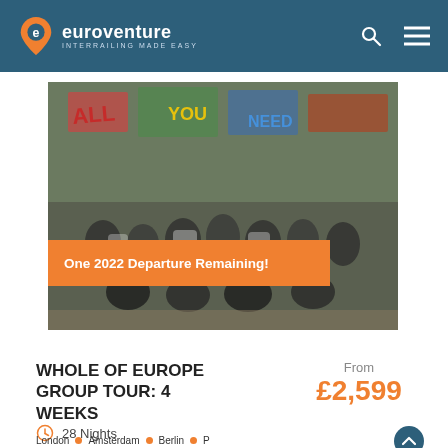euroventure INTERRAILING MADE EASY
[Figure (photo): Group of young people posing in front of a colorful graffiti wall, with an orange banner overlay reading 'One 2022 Departure Remaining!']
WHOLE OF EUROPE GROUP TOUR: 4 WEEKS
From £2,599
28 Nights